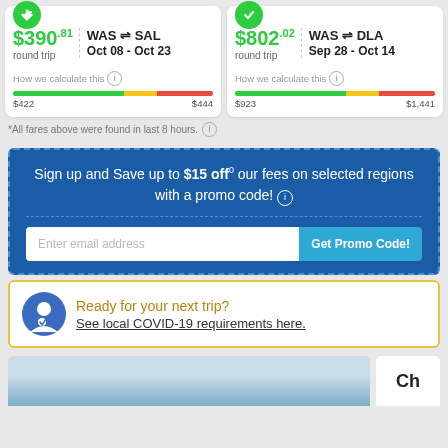[Figure (infographic): Fare card for WAS to SAL round trip $390.81, Oct 08 - Oct 23, with price bar showing $422 and $444 markers]
[Figure (infographic): Fare card for WAS to DLA round trip $802.02, Sep 28 - Oct 14, with price bar showing $923 and $1,441 markers]
*All fares above were found in last 8 hours.
Sign up and Save up to $15 off our fees on selected regions with a promo code!
Enter email address
Get Promo Code!
Ready for your next trip?
See local COVID-19 requirements here.